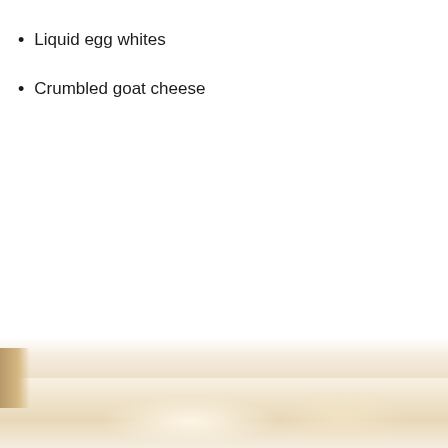Liquid egg whites
Crumbled goat cheese
[Figure (photo): Bottom portion of page showing a warm-toned food photograph, partially visible, with creamy/golden tones suggesting an egg or cheese dish on a light surface.]